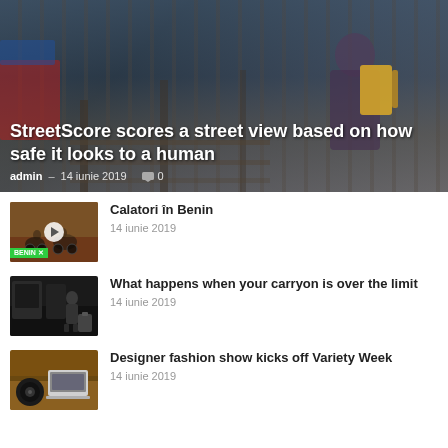[Figure (photo): Hero image of a person with a yellow backpack at a railway station, overlaid with article title and metadata]
StreetScore scores a street view based on how safe it looks to a human
admin – 14 iunie 2019  0
[Figure (photo): Thumbnail of street scene with motorcycles in Benin, with play button overlay and BENIN label]
Calatori în Benin
14 iunie 2019
[Figure (photo): Thumbnail of a person standing with luggage in a dark setting]
What happens when your carryon is over the limit
14 iunie 2019
[Figure (photo): Thumbnail of a desk with a laptop and vinyl record player on a wooden surface]
Designer fashion show kicks off Variety Week
14 iunie 2019